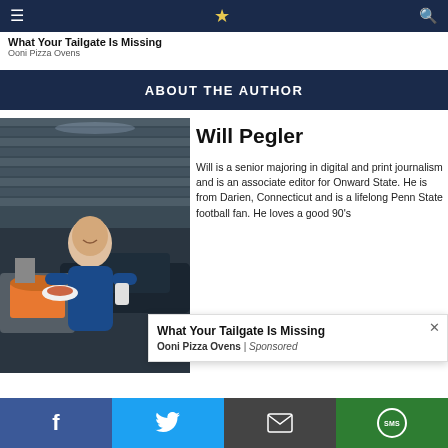Navigation bar with hamburger menu, logo, and search icon
What Your Tailgate Is Missing
Ooni Pizza Ovens
ABOUT THE AUTHOR
[Figure (photo): Author photo showing a man in a blue shirt holding a plate of food outdoors near a pizza oven, with stadium seating visible in the background]
Will Pegler
Will is a senior majoring in digital and print journalism and is an associate editor for Onward State. He is from Darien, Connecticut and is a lifelong Penn State football fan. He loves a good 90's
What Your Tailgate Is Missing
Ooni Pizza Ovens | Sponsored
Facebook | Twitter | Email | SMS share buttons